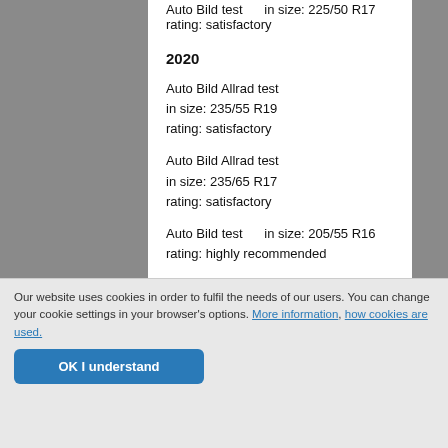Auto Bild test    in size: 225/50 R17
rating: satisfactory
2020
Auto Bild Allrad test
in size: 235/55 R19
rating: satisfactory
Auto Bild Allrad test
in size: 235/65 R17
rating: satisfactory
Auto Bild test    in size: 205/55 R16
rating: highly recommended
Our website uses cookies in order to fulfil the needs of our users. You can change your cookie settings in your browser's options. More information, how cookies are used.
OK I understand